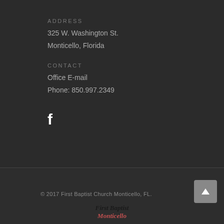ADDRESS
325 W. Washington St.
Monticello, Florida
CONTACT
Office E-mail
Phone: 850.997.2349
[Figure (logo): Facebook icon (f) in white]
© 2017 First Baptist Church Monticello, FL.
[Figure (logo): First Baptist Monticello logo text in italic bold, two-color: 'First Baptist' in dark/black, 'Monticello' in red/rose]